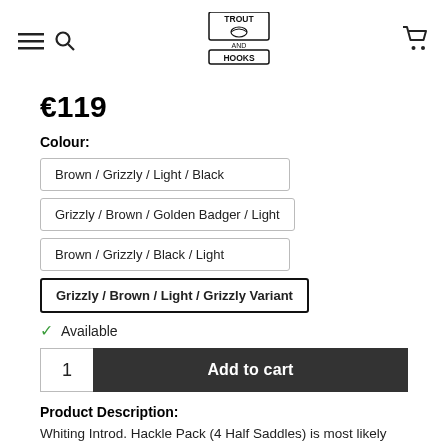Trout and Hooks logo with navigation icons
€119
Colour:
Brown / Grizzly / Light / Black
Grizzly / Brown / Golden Badger / Light
Brown / Grizzly / Black / Light
Grizzly / Brown / Light / Grizzly Variant (selected)
✓ Available
1  Add to cart
Product Description:
Whiting Introd. Hackle Pack (4 Half Saddles) is most likely the best choice when you want the most bang for the